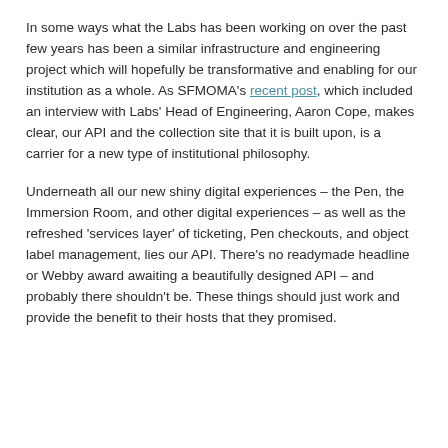In some ways what the Labs has been working on over the past few years has been a similar infrastructure and engineering project which will hopefully be transformative and enabling for our institution as a whole. As SFMOMA's recent post, which included an interview with Labs' Head of Engineering, Aaron Cope, makes clear, our API and the collection site that it is built upon, is a carrier for a new type of institutional philosophy.
Underneath all our new shiny digital experiences – the Pen, the Immersion Room, and other digital experiences – as well as the refreshed 'services layer' of ticketing, Pen checkouts, and object label management, lies our API. There's no readymade headline or Webby award awaiting a beautifully designed API – and probably there shouldn't be. These things should just work and provide the benefit to their hosts that they promised.